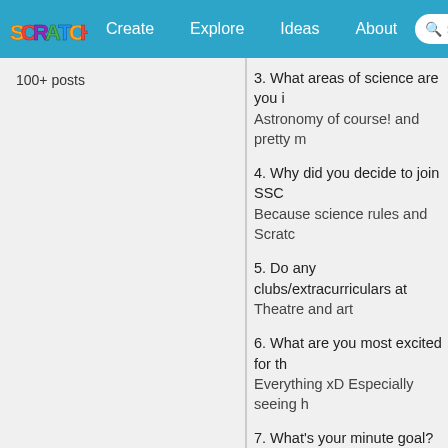SCRATCH | Create | Explore | Ideas | About | Search
100+ posts
3. What areas of science are you i... Astronomy of course! and pretty m...
4. Why did you decide to join SSC... Because science rules and Scratc...
5. Do any clubs/extracurriculars at... Theatre and art
6. What are you most excited for th... Everything xD Especially seeing h...
7. What's your minute goal? 800 but I might go over xD
8. Favourite science-related movie... *cough* star wars because sci fi ye...
9. Is there anything important you t... Not that I can think of right now xD...
10. What is your favorite subject at... English but science is a close seco...
11. What is something that really s... I've always liked science. but I feel... stuff with science is just as crazy...